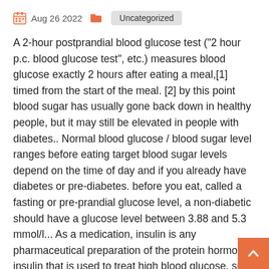Aug 26 2022  Uncategorized
A 2-hour postprandial blood glucose test ("2 hour p.c. blood glucose test", etc.) measures blood glucose exactly 2 hours after eating a meal,[1] timed from the start of the meal. [2] by this point blood sugar has usually gone back down in healthy people, but it may still be elevated in people with diabetes.. Normal blood glucose / blood sugar level ranges before eating target blood sugar levels depend on the time of day and if you already have diabetes or pre-diabetes. before you eat, called a fasting or pre-prandial glucose level, a non-diabetic should have a glucose level between 3.88 and 5.3 mmol/l... As a medication, insulin is any pharmaceutical preparation of the protein hormone insulin that is used to treat high blood glucose. such conditions include type 1 diabetes, type 2 diabetes, gestational diabetes, and complications of diabetes such as diabetic ketoacidosis and hyperosmolar